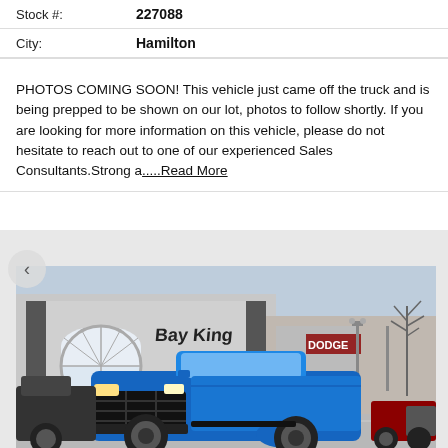| Stock #: | 227088 |
| City: | Hamilton |
PHOTOS COMING SOON! This vehicle just came off the truck and is being prepped to be shown on our lot, photos to follow shortly. If you are looking for more information on this vehicle, please do not hesitate to reach out to one of our experienced Sales Consultants.Strong a.....Read More
[Figure (photo): Blue Ram 1500 pickup truck parked in front of Bay King dealership. The dealership building has a large arched window and signage reading 'Bay King'. Overcast winter sky, bare trees in the background, other vehicles visible.]